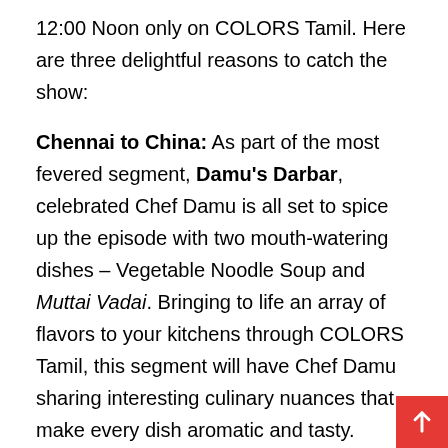12:00 Noon only on COLORS Tamil. Here are three delightful reasons to catch the show:
Chennai to China: As part of the most fevered segment, Damu's Darbar, celebrated Chef Damu is all set to spice up the episode with two mouth-watering dishes – Vegetable Noodle Soup and Muttai Vadai. Bringing to life an array of flavors to your kitchens through COLORS Tamil, this segment will have Chef Damu sharing interesting culinary nuances that make every dish aromatic and tasty.
Spice it up: Wearing the hats of Master Chef for this weekend, celebrities Suja Vaasan and Laddu Krithika will be seen showcasing some spectacular dishes filled